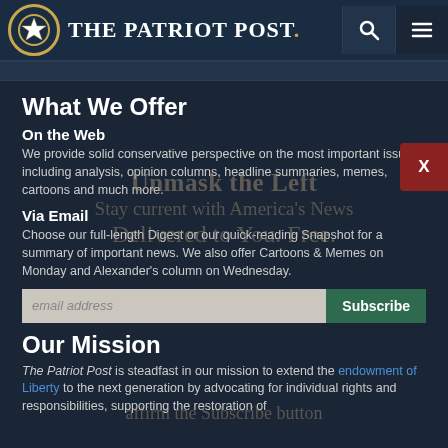The Patriot Post
What We Offer
On the Web
We provide solid conservative perspective on the most important issues, including analysis, opinion columns, headline summaries, memes, cartoons and much more.
Via Email
Choose our full-length Digest or our quick-reading Snapshot for a summary of important news. We also offer Cartoons & Memes on Monday and Alexander's column on Wednesday.
Our Mission
The Patriot Post is steadfast in our mission to extend the endowment of Liberty to the next generation by advocating for individual rights and responsibilities, supporting the restoration of